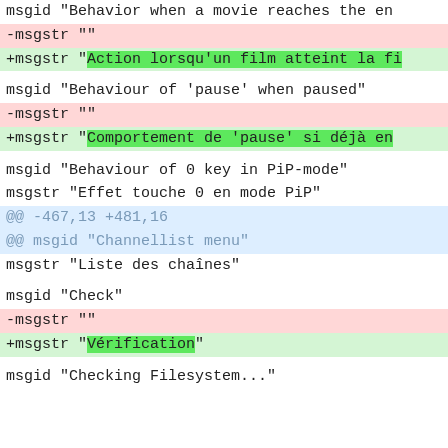msgid "Behavior when a movie reaches the en
-msgstr ""
+msgstr "Action lorsqu'un film atteint la fi
msgid "Behaviour of 'pause' when paused"
-msgstr ""
+msgstr "Comportement de 'pause' si déjà en
msgid "Behaviour of 0 key in PiP-mode"
msgstr "Effet touche 0 en mode PiP"
@@ -467,13 +481,16
@@ msgid "Channellist menu"
msgstr "Liste des chaînes"
msgid "Check"
-msgstr ""
+msgstr "Vérification"
msgid "Checking Filesystem..."